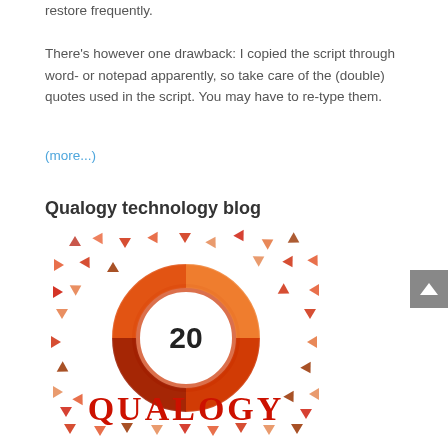restore frequently.

There's however one drawback: I copied the script through word- or notepad apparently, so take care of the (double) quotes used in the script. You may have to re-type them.
(more...)
Qualogy technology blog
[Figure (logo): Qualogy 20th anniversary logo with the number 20 in a circular orange/red gradient ring surrounded by scattered triangular arrow shapes in red, dark red, and orange colors, with QUALOGY text in large red serif letters at the bottom.]